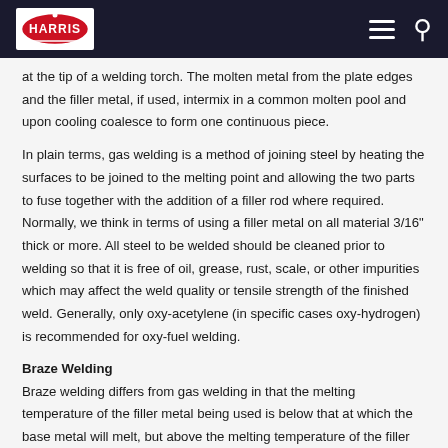Harris Products Group
at the tip of a welding torch. The molten metal from the plate edges and the filler metal, if used, intermix in a common molten pool and upon cooling coalesce to form one continuous piece.
In plain terms, gas welding is a method of joining steel by heating the surfaces to be joined to the melting point and allowing the two parts to fuse together with the addition of a filler rod where required. Normally, we think in terms of using a filler metal on all material 3/16" thick or more. All steel to be welded should be cleaned prior to welding so that it is free of oil, grease, rust, scale, or other impurities which may affect the weld quality or tensile strength of the finished weld. Generally, only oxy-acetylene (in specific cases oxy-hydrogen) is recommended for oxy-fuel welding.
Braze Welding
Braze welding differs from gas welding in that the melting temperature of the filler metal being used is below that at which the base metal will melt, but above the melting temperature of the filler material. B...